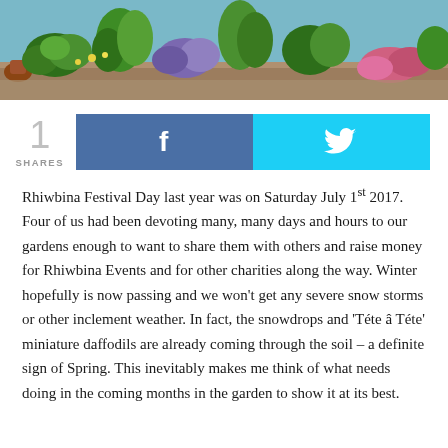[Figure (photo): Garden photo banner showing green plants, flowers, and foliage against a bright background]
1 SHARES [Facebook share button] [Twitter share button]
Rhiwbina Festival Day last year was on Saturday July 1st 2017. Four of us had been devoting many, many days and hours to our gardens enough to want to share them with others and raise money for Rhiwbina Events and for other charities along the way. Winter hopefully is now passing and we won't get any severe snow storms or other inclement weather. In fact, the snowdrops and 'Téte â Téte' miniature daffodils are already coming through the soil – a definite sign of Spring. This inevitably makes me think of what needs doing in the coming months in the garden to show it at its best.